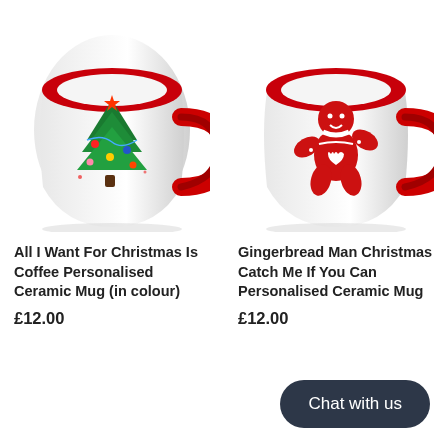[Figure (photo): White ceramic mug with red interior, red handle, and a Christmas tree design on the front. The mug is tilted at an angle showing the front and right side.]
[Figure (photo): White ceramic mug with red interior, red handle, and a red gingerbread man design on the front. The mug is tilted at an angle showing the front and right side.]
All I Want For Christmas Is Coffee Personalised Ceramic Mug (in colour)
£12.00
Gingerbread Man Christmas Catch Me If You Can Personalised Ceramic Mug
£12.00
Chat with us